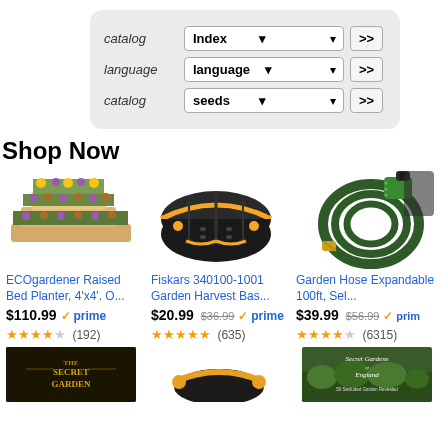[Figure (screenshot): Filter panel with three rows: catalog/Index, language/language, catalog/seeds dropdowns with >> buttons]
Shop Now
[Figure (photo): ECOgardener Raised Bed Planter 4x4 product image]
ECOgardener Raised Bed Planter, 4'x4'. O...
$110.99 prime (192 reviews, 4.5 stars)
[Figure (photo): Fiskars 340100-1001 Garden Harvest Basket product image]
Fiskars 340100-1001 Garden Harvest Bas...
$20.99 $36.99 prime (635 reviews, 5 stars)
[Figure (photo): Garden Hose Expandable 100ft product image]
Garden Hose Expandable 100ft, Sel...
$39.99 $56.99 prime (6315 reviews, 4.5 stars)
[Figure (photo): The Secret Garden book cover]
[Figure (photo): Garden gloves or hose product image]
[Figure (photo): Secret Gardens of England book cover]